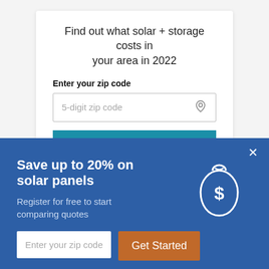Find out what solar + storage costs in your area in 2022
Enter your zip code
5-digit zip code
See Prices
×
Save up to 20% on solar panels
Register for free to start comparing quotes
[Figure (illustration): White outline illustration of a money bag with a dollar sign on a blue background]
Enter your zip code
Get Started